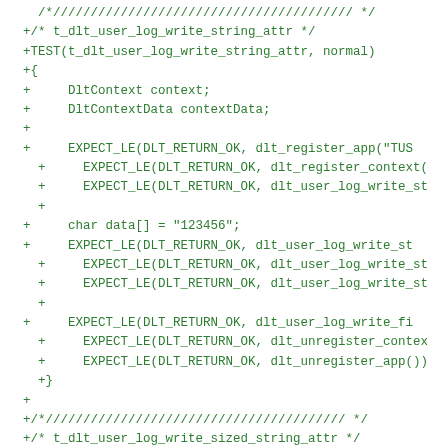[Figure (screenshot): Code diff screenshot showing C++ test code additions for t_dlt_user_log_write_string_attr and t_dlt_user_log_write_sized_string_attr functions, displayed in green monospace font on white background with a blue header bar at top.]